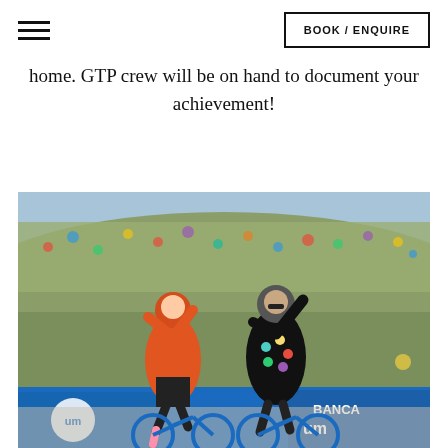BOOK / ENQUIRE
home. GTP crew will be on hand to document your achievement!
[Figure (photo): Two cyclists in cycling gear celebrating at the finish line of a cycling event, with crowds and blue sponsor banners (including 'Banca') visible in the background on a hillside. One cyclist wears an orange jersey, the other a black polka-dot jersey. Both are on blue road bikes and have their arms raised in celebration.]